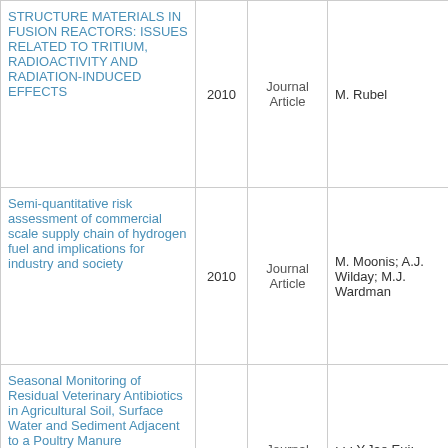| Title | Year | Type | Authors |
| --- | --- | --- | --- |
| STRUCTURE MATERIALS IN FUSION REACTORS: ISSUES RELATED TO TRITIUM, RADIOACTIVITY AND RADIATION-INDUCED EFFECTS | 2010 | Journal Article | M. Rubel |
| Semi-quantitative risk assessment of commercial scale supply chain of hydrogen fuel and implications for industry and society | 2010 | Journal Article | M. Moonis; A.J. Wilday; M.J. Wardman |
| Seasonal Monitoring of Residual Veterinary Antibiotics in Agricultural Soil, Surface Water and Sediment Adjacent to a Poultry Manure Composting Facility | 2010 | Journal Article | ; ; ; Y.Jae Eui; Y.Sik Ok; |